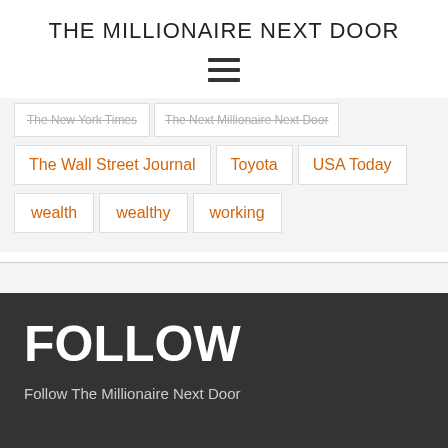THE MILLIONAIRE NEXT DOOR
[Figure (other): Hamburger menu icon (three horizontal lines)]
The New York Times
The Next Millionaire Next Door
The Wall Street Journal
Toyota
USA Today
wealth
wealthy
working
FOLLOW
Follow The Millionaire Next Door